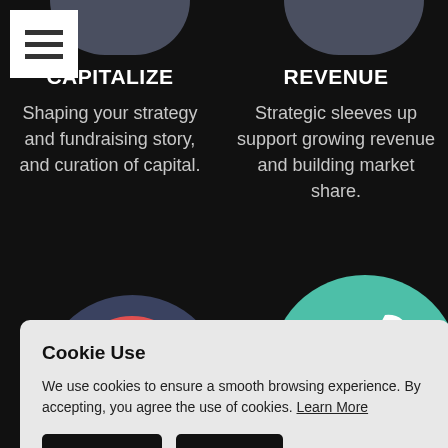[Figure (other): Hamburger menu icon (three horizontal bars) in white square]
[Figure (other): Circular icon for CAPITALIZE section, dark slate color, top partially visible]
CAPITALIZE
Shaping your strategy and fundraising story, and curation of capital.
[Figure (other): Circular icon for REVENUE section, dark slate color, top partially visible]
REVENUE
Strategic sleeves up support growing revenue and building market share.
[Figure (other): Circular icon with red arc and blue element on dark background - partially visible]
Scale your impact
[Figure (other): Teal circular icon with wrench and screwdriver tools illustration]
P & BRAND PROTECTION
Cookie Use
We use cookies to ensure a smooth browsing experience. By accepting, you agree the use of cookies. Learn More
Accept all
Settings
No Thanks